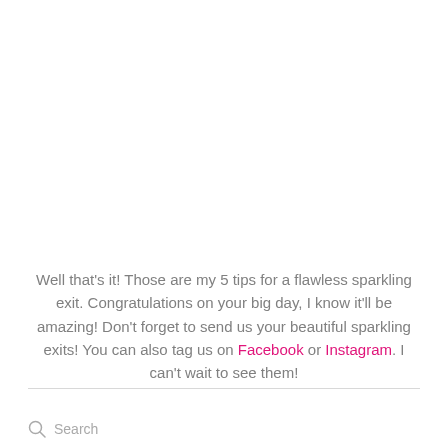Well that's it! Those are my 5 tips for a flawless sparkling exit. Congratulations on your big day, I know it'll be amazing! Don't forget to send us your beautiful sparkling exits! You can also tag us on Facebook or Instagram. I can't wait to see them!
Search